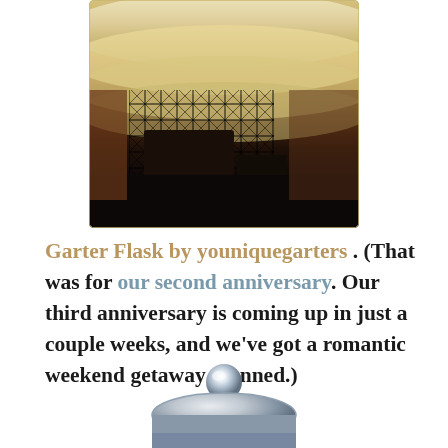[Figure (photo): Photograph of a person wearing a ruffled yellow/cream skirt with fishnet stockings and a black garter/boot, styled like a vintage Polaroid photo]
Garter Flask by youniquegarters . (That was for our second anniversary. Our third anniversary is coming up in just a couple weeks, and we've got a romantic weekend getaway planned.)
[Figure (photo): Bottom portion of a glass jar or cloche lid with a round glass knob on top, partially cropped at the bottom of the page]